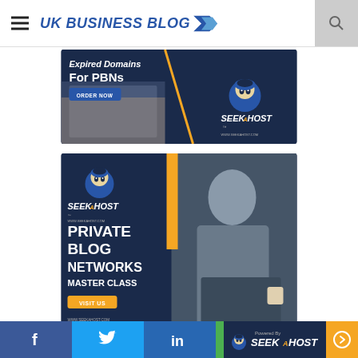UK BUSINESS BLOG
[Figure (screenshot): SeekaHost advertisement banner for Expired Domains For PBNs with ORDER NOW button and mascot logo]
[Figure (screenshot): SeekaHost advertisement banner for Private Blog Networks Master Class with VISIT US button, mascot, yellow accent, and person working on laptop]
Facebook | Twitter | LinkedIn | Powered By SeekaHost